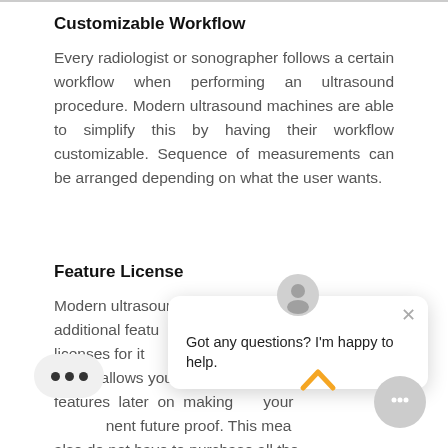Customizable Workflow
Every radiologist or sonographer follows a certain workflow when performing an ultrasound procedure. Modern ultrasound machines are able to simplify this by having their workflow customizable. Sequence of measurements can be arranged depending on what the user wants.
Feature License
Modern ultrasound additional features licenses for it model allows you to obtain additional features later on making your ment future proof. This mea also do not have to purchase all the
[Figure (screenshot): Chat popup overlay with avatar icon, close button, and message 'Got any questions? I’m happy to help.' Also shows scroll-up arrow button, chat bubble button, and three-dots button in the lower portion of the screen.]